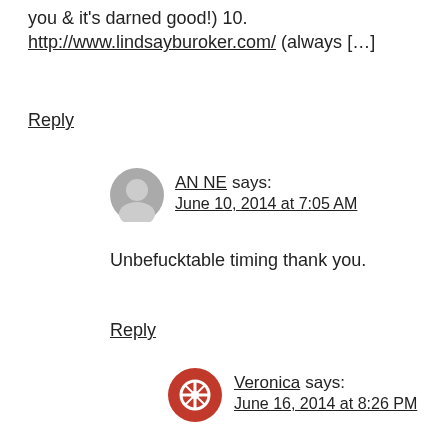you & it's darned good!) 10. http://www.lindsayburoker.com/ (always […]
Reply
AN NE says: June 10, 2014 at 7:05 AM
Unbefucktable timing thank you.
Reply
Veronica says: June 16, 2014 at 8:26 PM
I paint and sing. Not much writing going on here- but this is still useful and really motivating. Thank you!